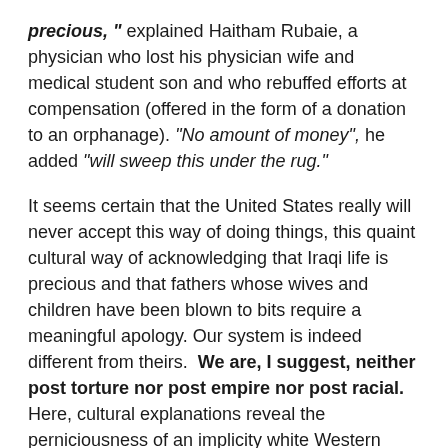precious," explained Haitham Rubaie, a physician who lost his physician wife and medical student son and who rebuffed efforts at compensation (offered in the form of a donation to an orphanage). "No amount of money", he added "will sweep this under the rug."
It seems certain that the United States really will never accept this way of doing things, this quaint cultural way of acknowledging that Iraqi life is precious and that fathers whose wives and children have been blown to bits require a meaningful apology. Our system is indeed different from theirs.  We are, I suggest, neither post torture nor post empire nor post racial. Here, cultural explanations reveal the perniciousness of an implicity white Western refusal to grant that Iraqi life is precious.
~ Sociologist Sherene Razack, (U of Toronto), and is the author of many articles and books, including:  "How Is White